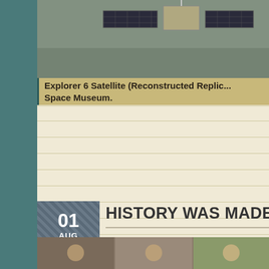[Figure (photo): Photo of Explorer 6 Satellite reconstructed replica, spacecraft with solar panels visible against a gray background]
Explorer 6 Satellite (Reconstructed Replica) Space Museum.
posted by Bob Karm in ANNIVERSARY,DEBUT,Earth,HISTORY,Lau... No Comments
HISTORY WAS MADE ON THIS D
[Figure (photo): Bottom strip showing historical photograph]